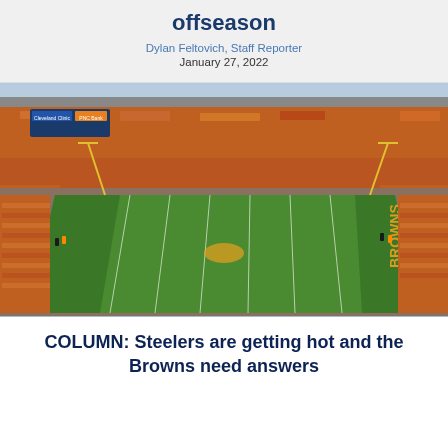offseason
Dylan Feltovich, Staff Reporter
January 27, 2022
[Figure (photo): Aerial view of a packed NFL stadium with orange-clad fans filling the seats. The green football field is visible with 'BROWNS' written in the end zone. Scoreboard and stadium signage visible including Cleveland Clinic and PNC Bank logos.]
COLUMN: Steelers are getting hot and the Browns need answers